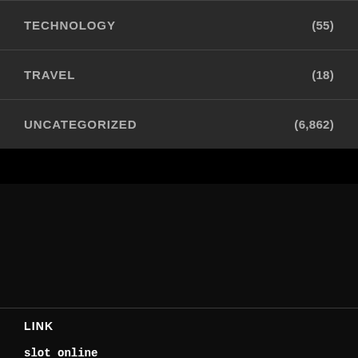TECHNOLOGY (55)
TRAVEL (18)
UNCATEGORIZED (6,862)
LINK
slot online